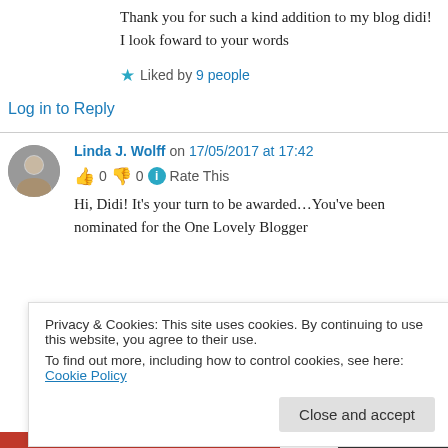Thank you for such a kind addition to my blog didi! I look foward to your words
★ Liked by 9 people
Log in to Reply
Linda J. Wolff on 17/05/2017 at 17:42
👍 0 👎 0 ℹ Rate This
Hi, Didi! It's your turn to be awarded…You've been nominated for the One Lovely Blogger
Privacy & Cookies: This site uses cookies. By continuing to use this website, you agree to their use.
To find out more, including how to control cookies, see here: Cookie Policy
Close and accept